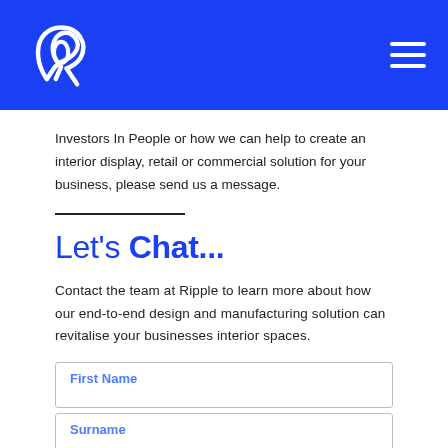Ripple logo and navigation menu
Investors In People or how we can help to create an interior display, retail or commercial solution for your business, please send us a message.
Let's Chat...
Contact the team at Ripple to learn more about how our end-to-end design and manufacturing solution can revitalise your businesses interior spaces.
First Name
Surname